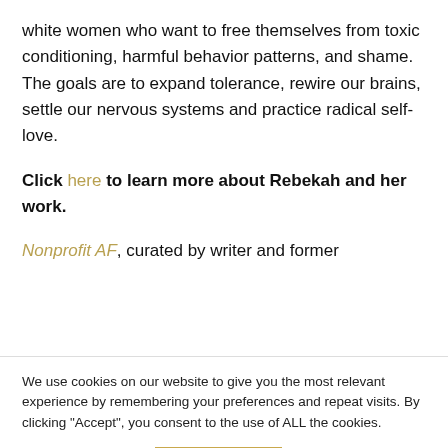white women who want to free themselves from toxic conditioning, harmful behavior patterns, and shame. The goals are to expand tolerance, rewire our brains, settle our nervous systems and practice radical self-love.
Click here to learn more about Rebekah and her work.
Nonprofit AF, curated by writer and former
We use cookies on our website to give you the most relevant experience by remembering your preferences and repeat visits. By clicking "Accept", you consent to the use of ALL the cookies.
Cookie settings
ACCEPT